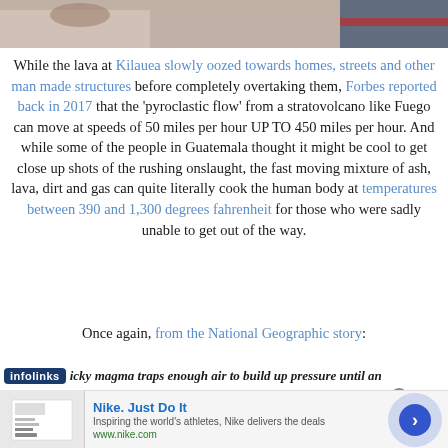[Figure (photo): Top partial photo showing people, blurred background, cropped]
While the lava at Kilauea slowly oozed towards homes, streets and other man made structures before completely overtaking them, Forbes reported back in 2017 that the 'pyroclastic flow' from a stratovolcano like Fuego can move at speeds of 50 miles per hour UP TO 450 miles per hour. And while some of the people in Guatemala thought it might be cool to get close up shots of the rushing onslaught, the fast moving mixture of ash, lava, dirt and gas can quite literally cook the human body at temperatures between 390 and 1,300 degrees fahrenheit for those who were sadly unable to get out of the way.
Once again, from the National Geographic story:
icky magma traps enough air to build up pressure until an
[Figure (screenshot): Nike advertisement banner: Nike. Just Do It. Inspiring the world's athletes, Nike delivers the deals. www.nike.com]